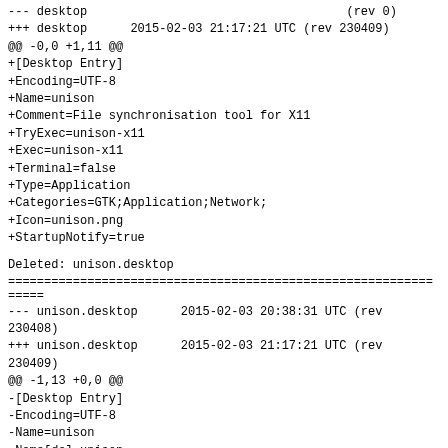--- desktop                                    (rev 0)
+++ desktop      2015-02-03 21:17:21 UTC (rev 230409)
@@ -0,0 +1,11 @@
+[Desktop Entry]
+Encoding=UTF-8
+Name=unison
+Comment=File synchronisation tool for X11
+TryExec=unison-x11
+Exec=unison-x11
+Terminal=false
+Type=Application
+Categories=GTK;Application;Network;
+Icon=unison.png
+StartupNotify=true
Deleted: unison.desktop
================================================================
--- unison.desktop      2015-02-03 20:38:31 UTC (rev
230408)
+++ unison.desktop      2015-02-03 21:17:21 UTC (rev
230409)
@@ -1,13 +0,0 @@
-[Desktop Entry]
-Encoding=UTF-8
-Name=unison
-Name[de]=unison
-Comment=File synchronisation tool for X11
-Comment[de]=Datei Abgleicher und Synchronisierer
-TryExec=unison-x11
-Exec=unison-x11
-Terminal=false